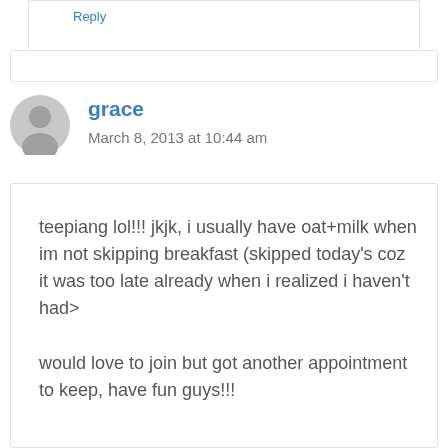Reply
grace
March 8, 2013 at 10:44 am
teepiang lol!!! jkjk, i usually have oat+milk when im not skipping breakfast (skipped today's coz it was too late already when i realized i haven't had one =.=)

would love to join but got another appointment to keep, have fun guys!!!